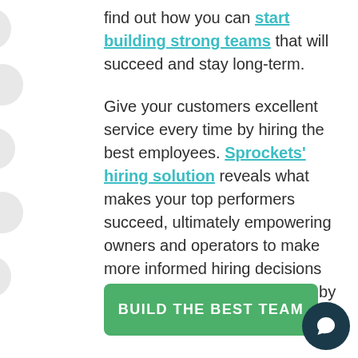find out how you can start building strong teams that will succeed and stay long-term.
Give your customers excellent service every time by hiring the best employees. Sprockets' hiring solution reveals what makes your top performers succeed, ultimately empowering owners and operators to make more informed hiring decisions and boost employee retention by 43%.
BUILD THE BEST TEAM